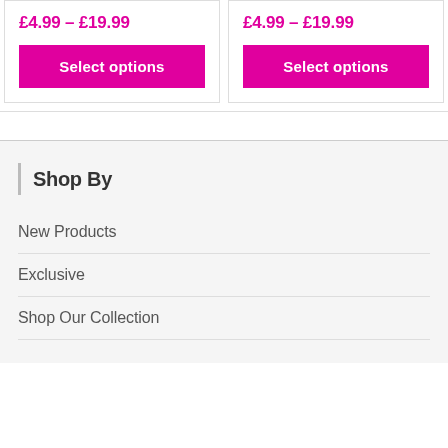£4.99 – £19.99
Select options
£4.99 – £19.99
Select options
Shop By
New Products
Exclusive
Shop Our Collection